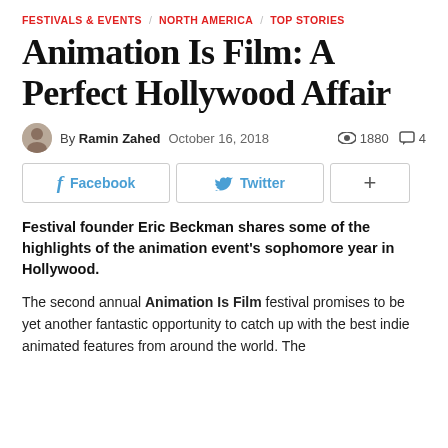FESTIVALS & EVENTS / NORTH AMERICA / TOP STORIES
Animation Is Film: A Perfect Hollywood Affair
By Ramin Zahed  October 16, 2018  1880  4
Facebook  Twitter  +
Festival founder Eric Beckman shares some of the highlights of the animation event's sophomore year in Hollywood.
The second annual Animation Is Film festival promises to be yet another fantastic opportunity to catch up with the best indie animated features from around the world. The